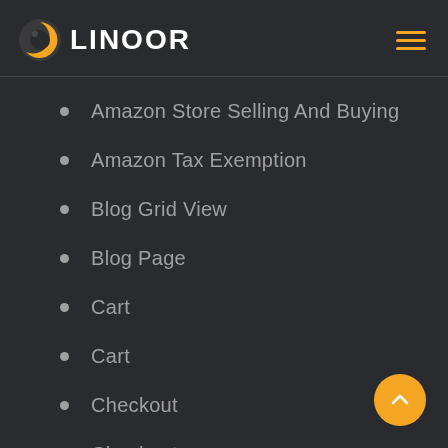LINOOR
Amazon Store Selling And Buying
Amazon Tax Exemption
Blog Grid View
Blog Page
Cart
Cart
Checkout
Checkout
Clients Page